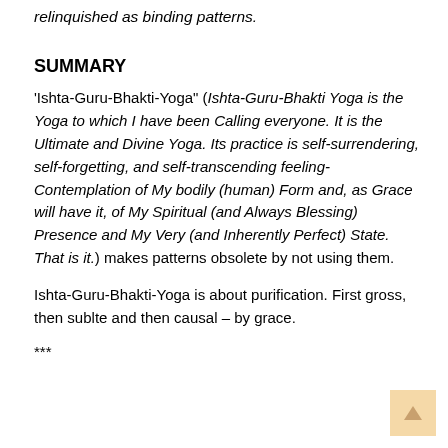relinquished as binding patterns.
SUMMARY
'Ishta-Guru-Bhakti-Yoga" (Ishta-Guru-Bhakti Yoga is the Yoga to which I have been Calling everyone. It is the Ultimate and Divine Yoga. Its practice is self-surrendering, self-forgetting, and self-transcending feeling-Contemplation of My bodily (human) Form and, as Grace will have it, of My Spiritual (and Always Blessing) Presence and My Very (and Inherently Perfect) State. That is it.) makes patterns obsolete by not using them.
Ishta-Guru-Bhakti-Yoga is about purification. First gross, then sublte and then causal – by grace.
***